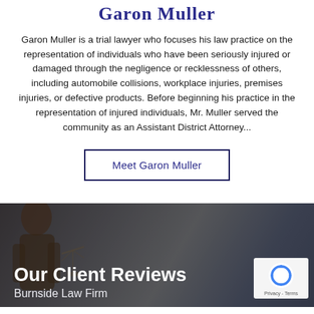Garon Muller
Garon Muller is a trial lawyer who focuses his law practice on the representation of individuals who have been seriously injured or damaged through the negligence or recklessness of others, including automobile collisions, workplace injuries, premises injuries, or defective products. Before beginning his practice in the representation of injured individuals, Mr. Muller served the community as an Assistant District Attorney...
Meet Garon Muller
Our Client Reviews
Burnside Law Firm